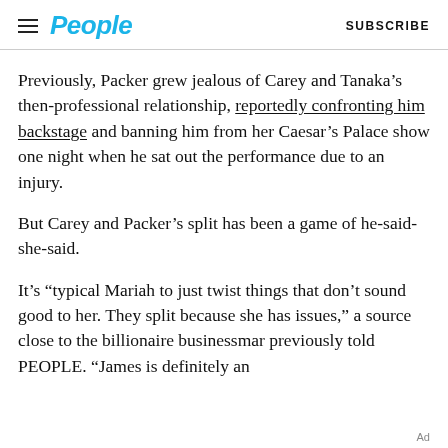People  SUBSCRIBE
Previously, Packer grew jealous of Carey and Tanaka’s then-professional relationship, reportedly confronting him backstage and banning him from her Caesar’s Palace show one night when he sat out the performance due to an injury.
But Carey and Packer’s split has been a game of he-said-she-said.
It’s “typical Mariah to just twist things that don’t sound good to her. They split because she has issues,” a source close to the billionaire businessman previously told PEOPLE. “James is definitely an